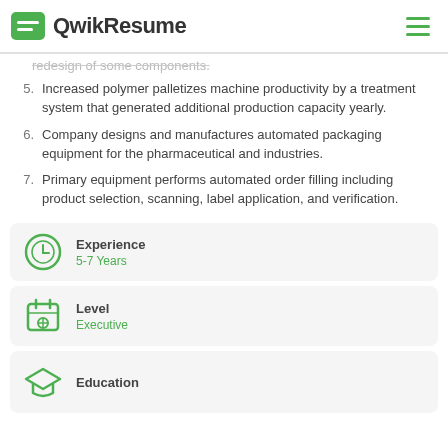QwikResume
redesign of some components.
Increased polymer palletizes machine productivity by a treatment system that generated additional production capacity yearly.
Company designs and manufactures automated packaging equipment for the pharmaceutical and industries.
Primary equipment performs automated order filling including product selection, scanning, label application, and verification.
Experience
5-7 Years
Level
Executive
Education